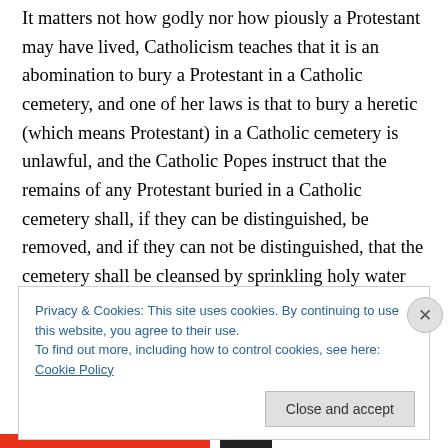It matters not how godly nor how piously a Protestant may have lived, Catholicism teaches that it is an abomination to bury a Protestant in a Catholic cemetery, and one of her laws is that to bury a heretic (which means Protestant) in a Catholic cemetery is unlawful, and the Catholic Popes instruct that the remains of any Protestant buried in a Catholic cemetery shall, if they can be distinguished, be removed, and if they can not be distinguished, that the cemetery shall be cleansed by sprinkling holy water over the ground, and bear in mind that this holy water is to receive its cleansing power from some priest or bishop,
Privacy & Cookies: This site uses cookies. By continuing to use this website, you agree to their use.
To find out more, including how to control cookies, see here: Cookie Policy